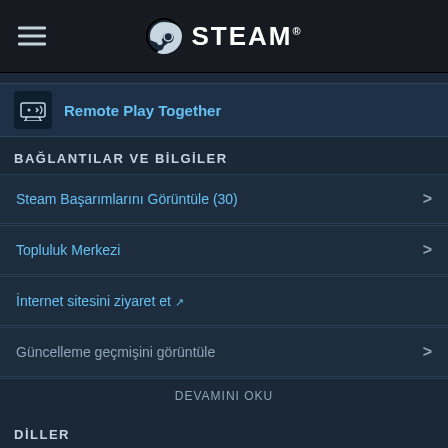STEAM
Remote Play Together
BAĞLANTILAR VE BİLGİLER
Steam Başarımlarını Görüntüle (30)
Topluluk Merkezi
İnternet sitesini ziyaret et ↗
Güncelleme geçmişini görüntüle
DEVAMINI OKU
DİLLER
Türkçe ve 12 dil daha